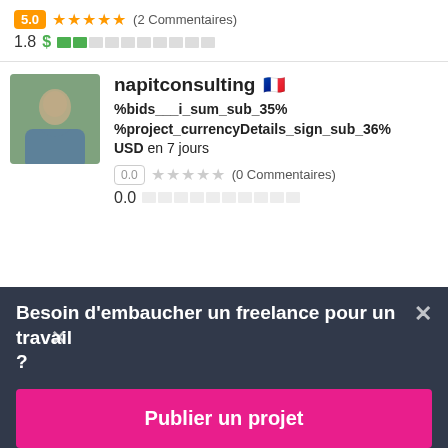[Figure (other): Rating row: orange badge 5.0, five filled orange stars, (2 Commentaires)]
1.8 $ ██░░░░░░░░
[Figure (photo): Profile photo of napitconsulting user, person in denim jacket outdoors]
napitconsulting 🇫🇷
%bids___i_sum_sub_35% %project_currencyDetails_sign_sub_36% USD en 7 jours
0.0 ☆☆☆☆☆ (0 Commentaires)
0.0
Besoin d'embaucher un freelance pour un travail ?
Publier un projet